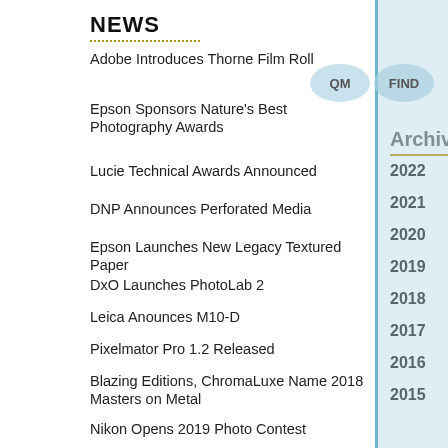NEWS
Adobe Introduces Thorne Film Roll
Epson Sponsors Nature's Best Photography Awards
Lucie Technical Awards Announced
DNP Announces Perforated Media
Epson Launches New Legacy Textured Paper
DxO Launches PhotoLab 2
Leica Anounces M10-D
Pixelmator Pro 1.2 Released
Blazing Editions, ChromaLuxe Name 2018 Masters on Metal
Nikon Opens 2019 Photo Contest
Angama Mara Opens Wildlife Photo Studio
Sony Introduces HX99 Travel Digital Camera
Adobe Unveils Updates to Creative Cloud at MAX 2018
Nikon Announces Winners Of Small World Competitions
Leica Announces Leica Q Khaki
Hex Introduces 2018 Camera Bag Collection
Archive
2022
2021
2020
2019
2018
2017
2016
2015
2014
2013
2012
More
Headlines